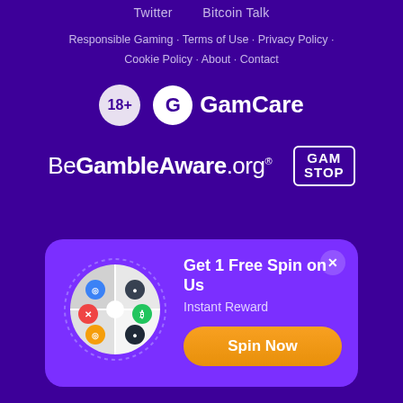Twitter · Bitcoin Talk
Responsible Gaming · Terms of Use · Privacy Policy · Cookie Policy · About · Contact
[Figure (logo): 18+ badge and GamCare logo]
[Figure (logo): BeGambleAware.org logo and GamStop badge]
[Figure (infographic): Popup: spinning prize wheel with cryptocurrency icons, text 'Get 1 Free Spin on Us', 'Instant Reward', and 'Spin Now' orange button]